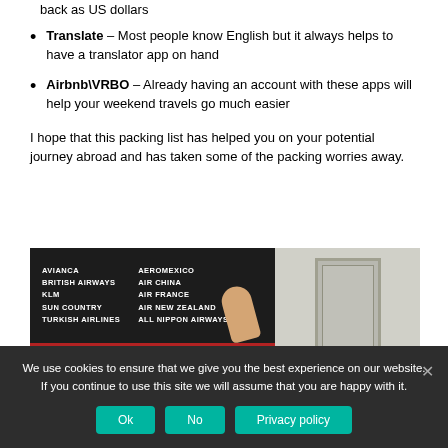back as US dollars
Translate – Most people know English but it always helps to have a translator app on hand
Airbnb\VRBO – Already having an account with these apps will help your weekend travels go much easier
I hope that this packing list has helped you on your potential journey abroad and has taken some of the packing worries away.
[Figure (photo): Photo of an airport departures board showing airline names including Avianca, British Airways, KLM, Sun Country, Turkish Airlines, Aeromexico, Air China, Air France, Air New Zealand, All Nippon Airways. A hand is pointing at the board.]
We use cookies to ensure that we give you the best experience on our website. If you continue to use this site we will assume that you are happy with it.